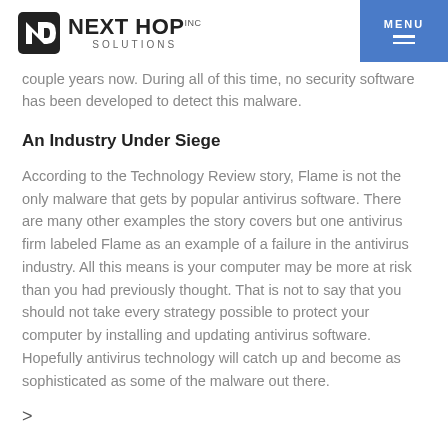NEXT HOP SOLUTIONS | MENU
couple years now. During all of this time, no security software has been developed to detect this malware.
An Industry Under Siege
According to the Technology Review story, Flame is not the only malware that gets by popular antivirus software. There are many other examples the story covers but one antivirus firm labeled Flame as an example of a failure in the antivirus industry. All this means is your computer may be more at risk than you had previously thought. That is not to say that you should not take every strategy possible to protect your computer by installing and updating antivirus software. Hopefully antivirus technology will catch up and become as sophisticated as some of the malware out there.
>